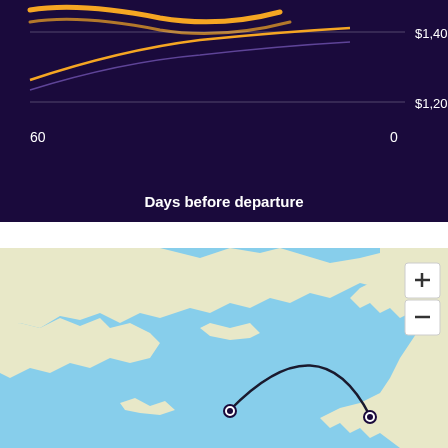[Figure (continuous-plot): Partial line chart showing airfare price vs days before departure on dark purple background. Y-axis shows $1,200 and $1,400. X-axis shows 60 on the left and 0 on the right. Yellow/orange curved line visible at top left.]
Days before departure
[Figure (map): Interactive map showing a great circle route arc between two cities, one near eastern Russia/China coast and one on the west coast of North America (likely Seattle or Vancouver). The arc curves northward over the Pacific Ocean. Map has zoom controls (+/-) in top right corner. Land is light yellow-beige, water is light blue.]